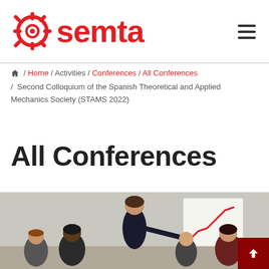[Figure (logo): SEMTA logo: red gear/snowflake icon followed by bold red text 'semta']
Home / Activities / Conferences / All Conferences / Second Colloquium of the Spanish Theoretical and Applied Mechanics Society (STAMS 2022)
All Conferences
[Figure (photo): Business meeting photo: a woman in a black blazer presenting at a flipchart with a rising line graph, surrounded by seated colleagues]